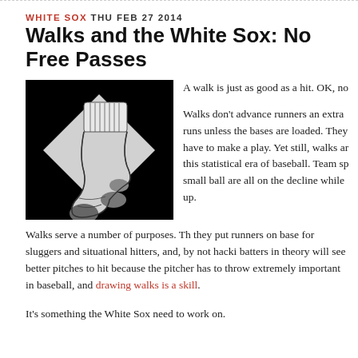WHITE SOX  THU FEB 27 2014
Walks and the White Sox: No Free Passes
[Figure (illustration): Black and white illustration of a baseball sock/ankle sock on a black diamond background]
A walk is just as good as a hit. OK, no...
Walks don't advance runners an extra runs unless the bases are loaded. They have to make a play. Yet still, walks are this statistical era of baseball. Team sp small ball are all on the decline while up.
Walks serve a number of purposes. They put runners on base for sluggers and situational hitters, and, by not hacking, batters in theory will see better pitches to hit because the pitcher has to throw extremely important in baseball, and drawing walks is a skill.
It's something the White Sox need to work on.